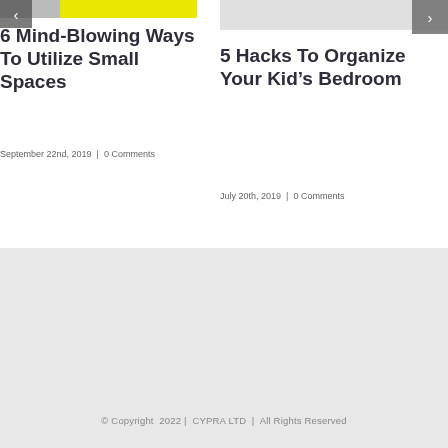[Figure (screenshot): Carousel navigation button (left arrow) over yellow/gray image bar]
6 Mind-Blowing Ways To Utilize Small Spaces
September 22nd, 2019  |  0 Comments
[Figure (screenshot): Carousel navigation button (right arrow) over gray image bar]
5 Hacks To Organize Your Kid’s Bedroom
July 20th, 2019  |  0 Comments
© Copyright  2022 |  CYPRA LTD  |  All Rights Reserved